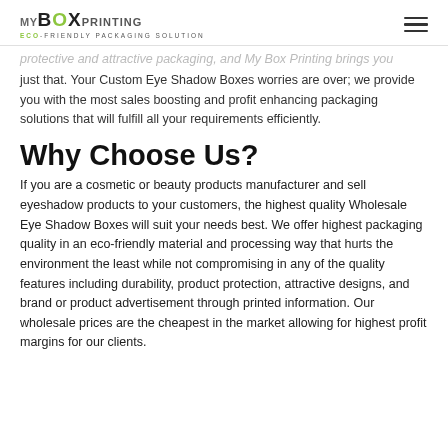MY BOX PRINTING — ECO-FRIENDLY PACKAGING SOLUTION
protective and attractive packaging, and My Box Printing brings you just that. Your Custom Eye Shadow Boxes worries are over; we provide you with the most sales boosting and profit enhancing packaging solutions that will fulfill all your requirements efficiently.
Why Choose Us?
If you are a cosmetic or beauty products manufacturer and sell eyeshadow products to your customers, the highest quality Wholesale Eye Shadow Boxes will suit your needs best. We offer highest packaging quality in an eco-friendly material and processing way that hurts the environment the least while not compromising in any of the quality features including durability, product protection, attractive designs, and brand or product advertisement through printed information. Our wholesale prices are the cheapest in the market allowing for highest profit margins for our clients.